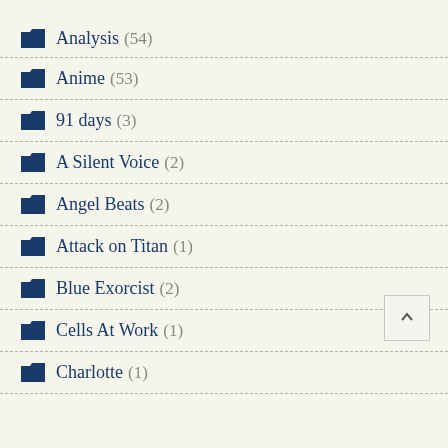Analysis (54)
Anime (53)
91 days (3)
A Silent Voice (2)
Angel Beats (2)
Attack on Titan (1)
Blue Exorcist (2)
Cells At Work (1)
Charlotte (1)